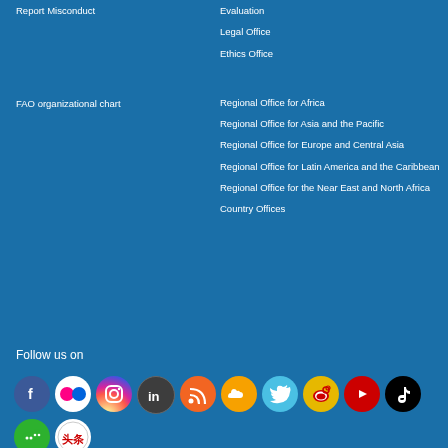Report Misconduct
Evaluation
Legal Office
Ethics Office
FAO organizational chart
Regional Office for Africa
Regional Office for Asia and the Pacific
Regional Office for Europe and Central Asia
Regional Office for Latin America and the Caribbean
Regional Office for the Near East and North Africa
Country Offices
Follow us on
[Figure (infographic): Social media icons: Facebook, Flickr, Instagram, LinkedIn, RSS, SoundCloud, Twitter, Weibo, YouTube, TikTok, WeChat, Weixin]